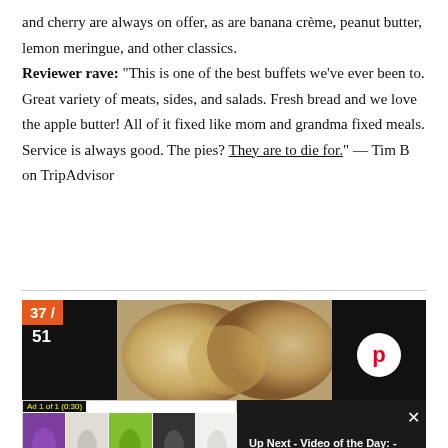and cherry are always on offer, as are banana crème, peanut butter, lemon meringue, and other classics. Reviewer rave: "This is one of the best buffets we've ever been to. Great variety of meats, sides, and salads. Fresh bread and we love the apple butter! All of it fixed like mom and grandma fixed meals. Service is always good. The pies? They are to die for." — Tim B on TripAdvisor
[Figure (screenshot): A slideshow/gallery screenshot showing '37 / 51' badge on dark background with a center food photo and a Pinterest button on the right. An ad overlay shows '7 DAYS, 7 LOOKS with Keke Palmer' video ad, and a 'Up Next - Video of the Day: - Shop 7 Days Worth of Keke Palmer's Outfits' panel.]
Nancy R./Yelp